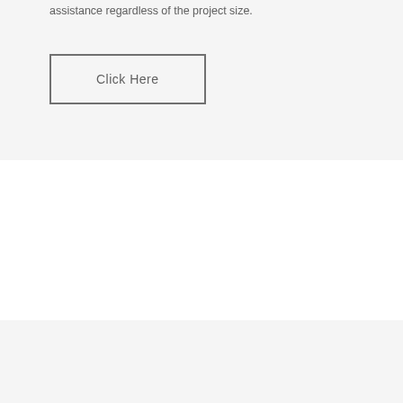assistance regardless of the project size.
[Figure (illustration): A rectangular button with the label 'Click Here']
[Figure (illustration): A 3D box/crate icon drawn in outline style with diagonal lines on the top face]